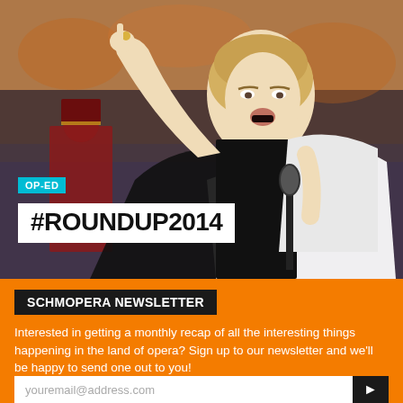[Figure (photo): Woman performing/singing at a large event, wearing black and white outfit, arm raised, with microphone. Background crowd in orange. OP-ED badge and #ROUNDUP2014 title overlaid.]
OP-ED
#ROUNDUP2014
SCHMOPERA NEWSLETTER
Interested in getting a monthly recap of all the interesting things happening in the land of opera? Sign up to our newsletter and we'll be happy to send one out to you!
youremail@address.com